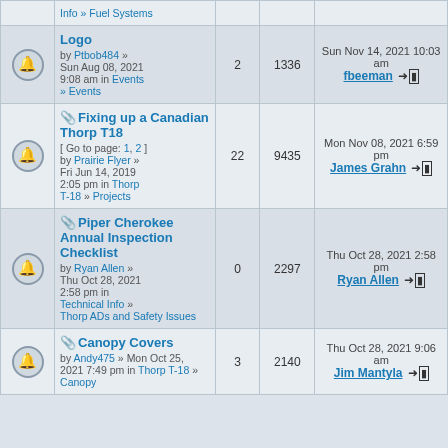|  | Topic | Replies | Views | Last post |
| --- | --- | --- | --- | --- |
| bell | Logo
by Ptbob484 » Sun Aug 08, 2021 9:08 am in Events » Events | 2 | 1336 | Sun Nov 14, 2021 10:03 am
fbeeman |
| bell | 📎 Fixing up a Canadian Thorp T18
[ Go to page: 1, 2 ]
by Prairie Flyer » Fri Jun 14, 2019 2:05 pm in Thorp T-18 » Projects | 22 | 9435 | Mon Nov 08, 2021 6:59 pm
James Grahn |
| bell | 📎 Piper Cherokee Annual Inspection Checklist
by Ryan Allen » Thu Oct 28, 2021 2:58 pm in Technical Info » Thorp ADs and Safety Issues | 0 | 2297 | Thu Oct 28, 2021 2:58 pm
Ryan Allen |
| bell | 📎 Canopy Covers
by Andy475 » Mon Oct 25, 2021 7:49 pm in Thorp T-18 » Canopy | 3 | 2140 | Thu Oct 28, 2021 9:06 am
Jim Mantyla |